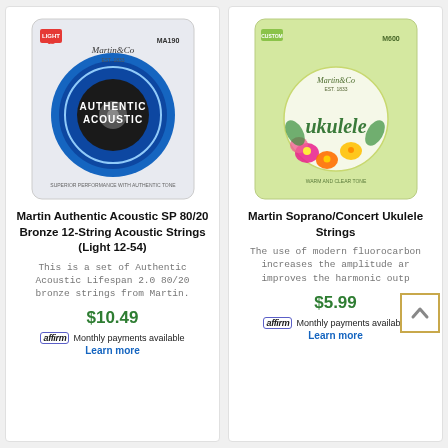[Figure (photo): Martin Authentic Acoustic SP 80/20 Bronze 12-String guitar strings package - white/blue packaging]
Martin Authentic Acoustic SP 80/20 Bronze 12-String Acoustic Strings (Light 12-54)
This is a set of Authentic Acoustic Lifespan 2.0 80/20 bronze strings from Martin.
$10.49
affirm Monthly payments available
Learn more
[Figure (photo): Martin Soprano/Concert Ukulele Strings package - light green packaging with tropical flowers]
Martin Soprano/Concert Ukulele Strings
The use of modern fluorocarbon increases the amplitude and improves the harmonic output
$5.99
affirm Monthly payments available
Learn more